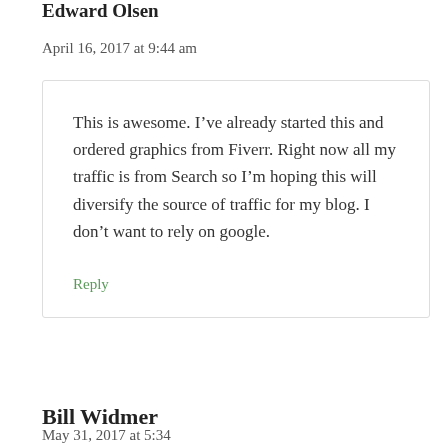Edward Olsen
April 16, 2017 at 9:44 am
This is awesome. I’ve already started this and ordered graphics from Fiverr. Right now all my traffic is from Search so I’m hoping this will diversify the source of traffic for my blog. I don’t want to rely on google.
Reply
Bill Widmer
May 31, 2017 at 5:34...